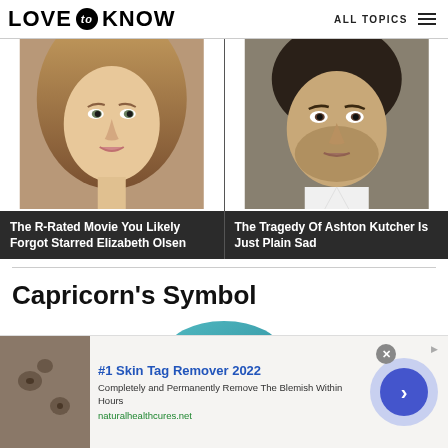LOVE to KNOW   ALL TOPICS
[Figure (photo): Two side-by-side celebrity photos: Elizabeth Olsen (left) and Ashton Kutcher (right) with dark overlay captions]
The R-Rated Movie You Likely Forgot Starred Elizabeth Olsen
The Tragedy Of Ashton Kutcher Is Just Plain Sad
Capricorn's Symbol
[Figure (illustration): Partial teal/turquoise arc shape at bottom of content area]
[Figure (photo): Advertisement banner: skin tag photo on left, #1 Skin Tag Remover 2022 text, naturalhealthcures.net URL, blue arrow button on right]